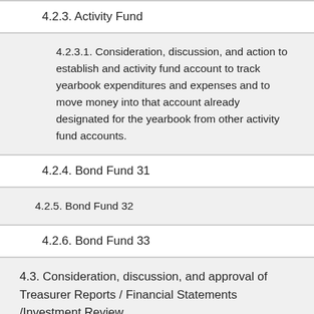4.2.3. Activity Fund
4.2.3.1. Consideration, discussion, and action to establish and activity fund account to track yearbook expenditures and expenses and to move money into that account already designated for the yearbook from other activity fund accounts.
4.2.4. Bond Fund 31
4.2.5. Bond Fund 32
4.2.6. Bond Fund 33
4.3. Consideration, discussion, and approval of Treasurer Reports / Financial Statements /Investment Review